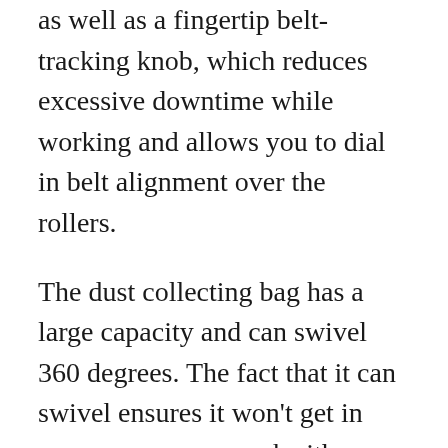as well as a fingertip belt-tracking knob, which reduces excessive downtime while working and allows you to dial in belt alignment over the rollers.
The dust collecting bag has a large capacity and can swivel 360 degrees. The fact that it can swivel ensures it won't get in your way as you work either. The ergonomically designed handles increase user comfort
If you're looking for a corded belt sander that will work well in a commercial environment